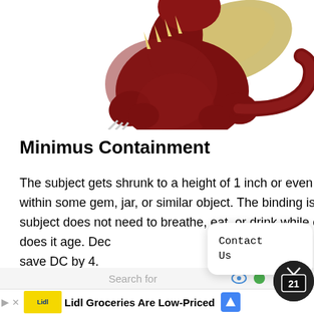[Figure (illustration): A red/dark-red dragon creature sitting/crouching with wings and spiky back, rendered in 3D style against white background. Only lower portion of dragon visible, cut off at top.]
Minimus Containment
The subject gets shrunk to a height of 1 inch or even less. And it held within some gem, jar, or similar object. The binding is permanent. The subject does not need to breathe, eat, or drink while contained, nor does it age. Dec save DC by 4.
Contact Us
Search for
Lidl Groceries Are Low-Priced  Lidl